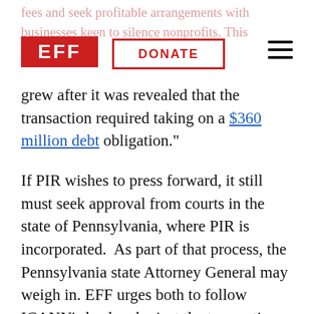EFF | DONATE
grew after it was revealed that the transaction required taking on a $360 million debt obligation."
If PIR wishes to press forward, it still must seek approval from courts in the state of Pennsylvania, where PIR is incorporated. As part of that process, the Pennsylvania state Attorney General may weigh in. EFF urges both to follow ICANN’s lead and reject the transaction. This will pave the way for a transparent process to select a new operator for .ORG that will act in the interests of the nonprofits that it serves.